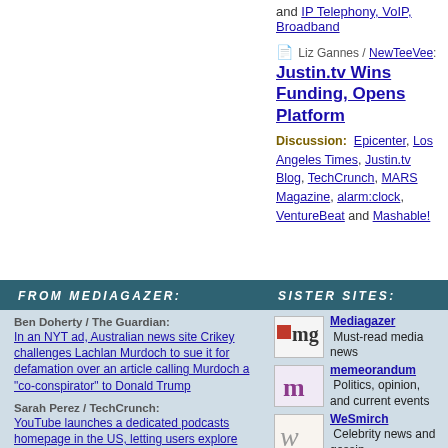and IP Telephony, VoIP, Broadband
Liz Gannes / NewTeeVee: Justin.tv Wins Funding, Opens Platform
Discussion: Epicenter, Los Angeles Times, Justin.tv Blog, TechCrunch, MARS Magazine, alarm:clock, VentureBeat and Mashable!
FROM MEDIAGAZER:
SISTER SITES:
Ben Doherty / The Guardian: In an NYT ad, Australian news site Crikey challenges Lachlan Murdoch to sue it for defamation over an article calling Murdoch a "co-conspirator" to Donald Trump
Sarah Perez / TechCrunch: YouTube launches a dedicated podcasts homepage in the US, letting users explore popular shows, creators, and recommend content
Mediagazer Must-read media news
memeorandum Politics, opinion, and current events
WeSmirch Celebrity news and gossip